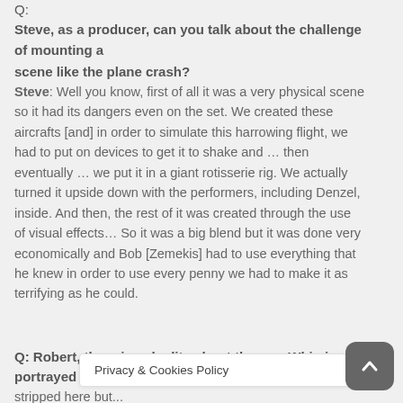Q: Steve, as a producer, can you talk about the challenge of mounting a scene like the plane crash? Steve: Well you know, first of all it was a very physical scene so it had its dangers even on the set. We created these aircrafts [and] in order to simulate this harrowing flight, we had to put on devices to get it to shake and … then eventually … we put it in a giant rotisserie rig. We actually turned it upside down with the performers, including Denzel, inside. And then, the rest of it was created through the use of visual effects… So it was a big blend but it was done very economically and Bob [Zemekis] had to use everything that he knew in order to use every penny we had to make it as terrifying as he could.
Q: Robert, there is a duality about the way Whip is portrayed...
Privacy & Cookies Policy